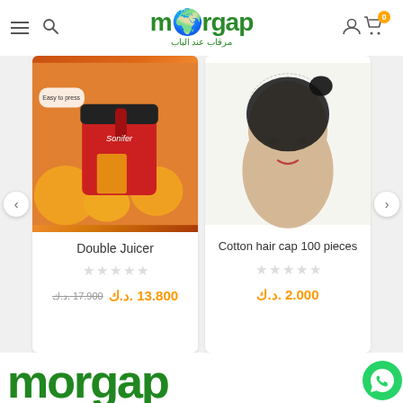morgap – مرقاب عند الباب
[Figure (photo): Product card: Double Juicer (Sonifer brand) with orange juicer image. Old price د.ك 17.900, new price د.ك 13.800. Zero star rating.]
[Figure (photo): Product card: Cotton hair cap 100 pieces with mannequin head wearing black lace hair cap. Price د.ك 2.000. Zero star rating.]
[Figure (logo): morgap 3D green logo at bottom of page with globe icon and WhatsApp button in bottom right corner.]